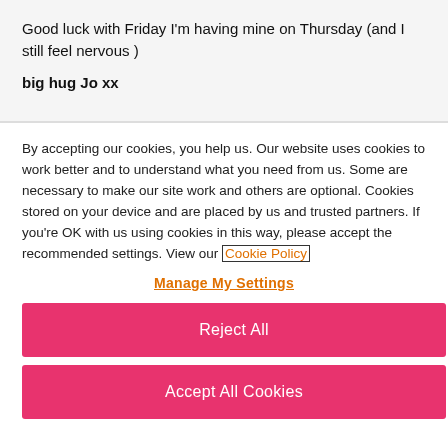Good luck with Friday I'm having mine on Thursday (and I still feel nervous )

big hug Jo xx
By accepting our cookies, you help us. Our website uses cookies to work better and to understand what you need from us. Some are necessary to make our site work and others are optional. Cookies stored on your device and are placed by us and trusted partners. If you're OK with us using cookies in this way, please accept the recommended settings. View our Cookie Policy
Manage My Settings
Reject All
Accept All Cookies